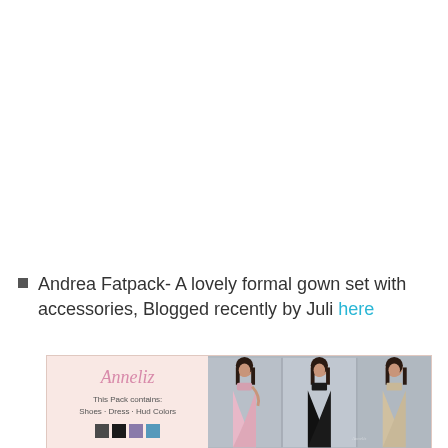Andrea Fatpack- A lovely formal gown set with accessories, Blogged recently by Juli here
[Figure (illustration): Anneliz product pack image showing three female avatar models in formal gowns (pink, black, silver) against a grey background, with pink decorative border, 'Anneliz' script title, pack contents text: 'This Pack contains: Shoes · Dress · Hud Colors', and color swatches at bottom.]